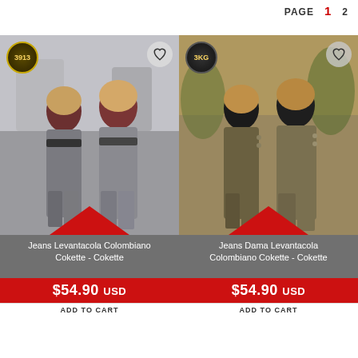PAGE  1  2
[Figure (photo): Two women wearing grey Colombian lift jeans (Jeans Levantacola Colombiano Cokette) with a badge showing 3913, heart icon, and red arrow overlay]
Jeans Levantacola Colombiano Cokette - Cokette
$54.90 USD
ADD TO CART
[Figure (photo): Two women wearing olive/khaki Colombian lift jeans (Jeans Dama Levantacola Colombiano Cokette) with a badge showing 3KG, heart icon, and red arrow overlay]
Jeans Dama Levantacola Colombiano Cokette - Cokette
$54.90 USD
ADD TO CART